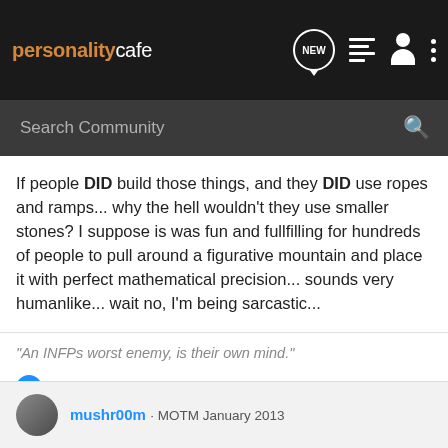[Figure (screenshot): PersonalityCafe website navigation bar with logo, NEW chat icon, list icon, person icon, and three-dots menu icon]
[Figure (screenshot): Search Community input bar with magnifying glass icon on dark background]
If people DID build those things, and they DID use ropes and ramps... why the hell wouldn't they use smaller stones? I suppose is was fun and fullfilling for hundreds of people to pull around a figurative mountain and place it with perfect mathematical precision... sounds very humanlike... wait no, I'm being sarcastic...
"An INFPs worst enemy, is their own mind."
Belovodia and LimeDegree
mushr00m · MOTM January 2013